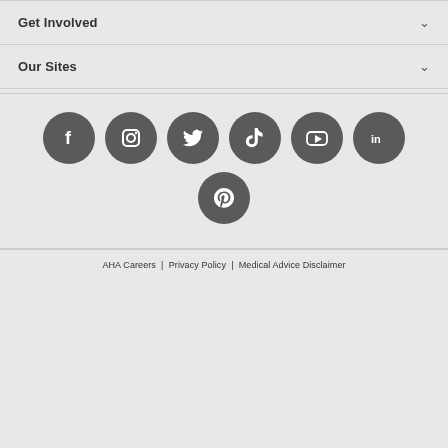Get Involved
Our Sites
[Figure (infographic): Row of social media icon circles: Facebook, Instagram, Twitter, TikTok, YouTube, LinkedIn; second row: Pinterest]
AHA Careers | Privacy Policy | Medical Advice Disclaimer